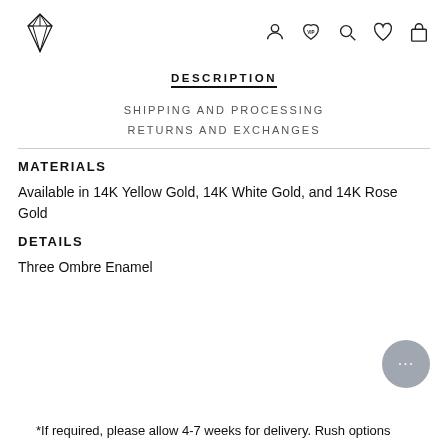[Logo and navigation icons: user, VIP heart, search, wishlist, bag]
DESCRIPTION
SHIPPING AND PROCESSING
RETURNS AND EXCHANGES
MATERIALS
Available in 14K Yellow Gold, 14K White Gold, and 14K Rose Gold
DETAILS
Three Ombre Enamel
*If required, please allow 4-7 weeks for delivery. Rush options